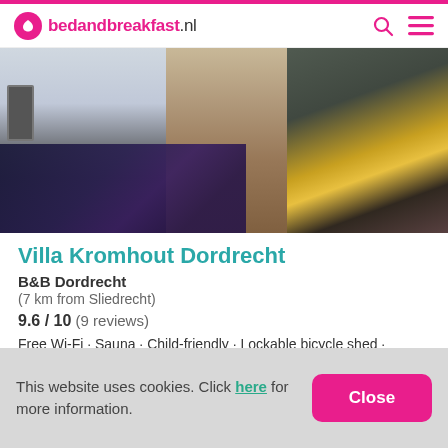bedandbreakfast.nl
[Figure (photo): Interior photo of Villa Kromhout showing a modern kitchen on the left, wooden plank wall in the center, and a sitting area with yellow pillow and floral bedding on the right]
Villa Kromhout Dordrecht
B&B Dordrecht
(7 km from Sliedrecht)
9.6 / 10  (9 reviews)
Free Wi-Fi · Sauna · Child-friendly · Lockable bicycle shed · Breakfast with home-made products · Breakfast with local...
This website uses cookies. Click here for more information.